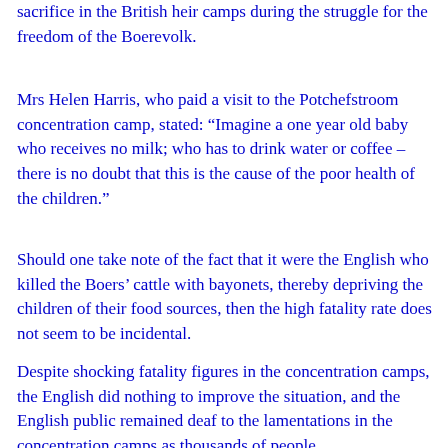sacrifice in the British heir camps during the struggle for the freedom of the Boerevolk.
Mrs Helen Harris, who paid a visit to the Potchefstroom concentration camp, stated: “Imagine a one year old baby who receives no milk; who has to drink water or coffee – there is no doubt that this is the cause of the poor health of the children.”
Should one take note of the fact that it were the English who killed the Boers’ cattle with bayonets, thereby depriving the children of their food sources, then the high fatality rate does not seem to be incidental.
Despite shocking fatality figures in the concentration camps, the English did nothing to improve the situation, and the English public remained deaf to the lamentations in the concentration camps as thousands of people,